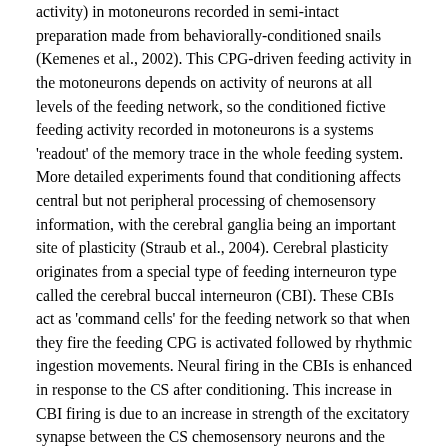activity) in motoneurons recorded in semi-intact preparation made from behaviorally-conditioned snails (Kemenes et al., 2002). This CPG-driven feeding activity in the motoneurons depends on activity of neurons at all levels of the feeding network, so the conditioned fictive feeding activity recorded in motoneurons is a systems 'readout' of the memory trace in the whole feeding system. More detailed experiments found that conditioning affects central but not peripheral processing of chemosensory information, with the cerebral ganglia being an important site of plasticity (Straub et al., 2004). Cerebral plasticity originates from a special type of feeding interneuron type called the cerebral buccal interneuron (CBI). These CBIs act as 'command cells' for the feeding network so that when they fire the feeding CPG is activated followed by rhythmic ingestion movements. Neural firing in the CBIs is enhanced in response to the CS after conditioning. This increase in CBI firing is due to an increase in strength of the excitatory synapse between the CS chemosensory neurons and the CBIs (Fig. 2A). How does this come about? Considerable experimental evidence suggests that it is due to pre-synaptic facilitation of the sensory neuron to CBI synapse by the modulatory neuron type known as the cerebral giant cell (CGC). The CGCs are known to have a basic role in normal activation of feeding, the food stimulus-relevant information they...